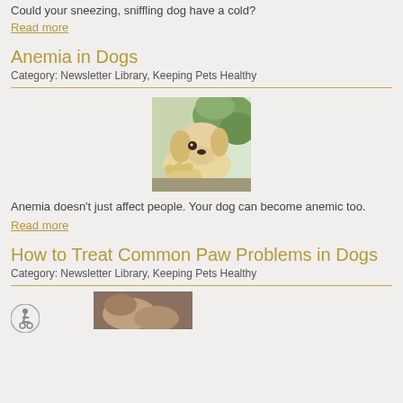Could your sneezing, sniffling dog have a cold?
Read more
Anemia in Dogs
Category: Newsletter Library, Keeping Pets Healthy
[Figure (photo): A light-colored puppy resting its chin on a surface near a window, looking sad or tired]
Anemia doesn't just affect people. Your dog can become anemic too.
Read more
How to Treat Common Paw Problems in Dogs
Category: Newsletter Library, Keeping Pets Healthy
[Figure (photo): Close-up of a dog's paw]